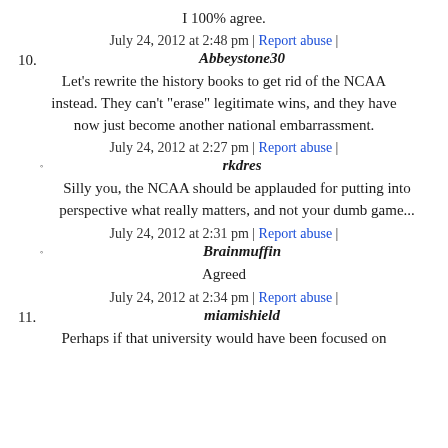I 100% agree.
July 24, 2012 at 2:48 pm | Report abuse |
10. Abbeystone30
Let's rewrite the history books to get rid of the NCAA instead. They can't "erase" legitimate wins, and they have now just become another national embarrassment.
July 24, 2012 at 2:27 pm | Report abuse |
◦ rkdres
Silly you, the NCAA should be applauded for putting into perspective what really matters, and not your dumb game...
July 24, 2012 at 2:31 pm | Report abuse |
◦ Brainmuffin
Agreed
July 24, 2012 at 2:34 pm | Report abuse |
11. miamishield
Perhaps if that university would have been focused on